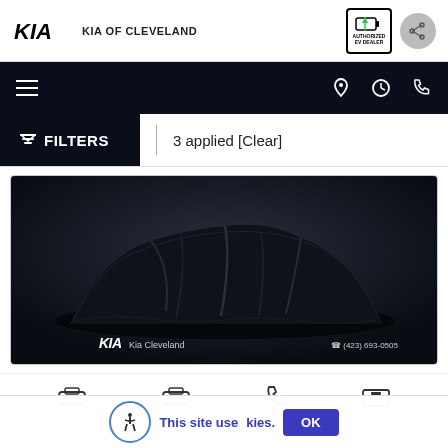KIA OF CLEVELAND
[Figure (screenshot): Kia of Cleveland dealership website screenshot showing a Kia car covered in a black cloth, with navigation bar, filter bar showing '3 applied [Clear]', and cookie consent notice]
3 applied  [Clear]
This site uses cookies.
OK